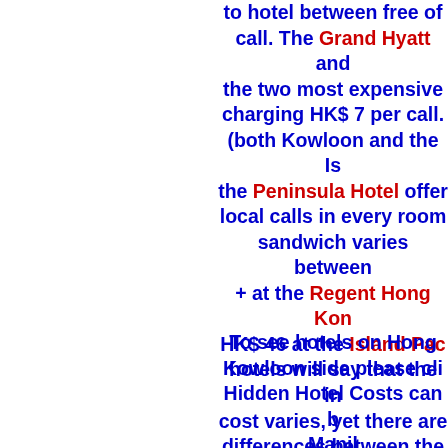to hotel between free of call. The Grand Hyatt and the two most expensive charging HK$ 7 per call. (both Kowloon and the Is the Peninsula Hotel offer local calls in every room sandwich varies between + at the Regent Hong Kon HK$ 46 at the Island Pac hotels will say that the in cost varies, yet there are differences between the where this is concerned prices are quite regular w mans shirt being at the Ki mainland with a price o lowest at the Century H only charges
To see hotels on Hong Kowloon side please cli Hidden Hotel Costs can b Manila: